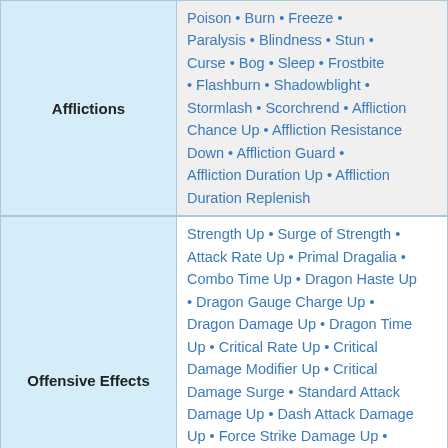| Category | Items |
| --- | --- |
| Afflictions | Poison • Burn • Freeze • Paralysis • Blindness • Stun • Curse • Bog • Sleep • Frostbite • Flashburn • Shadowblight • Stormlash • Scorchrend • Affliction Chance Up • Affliction Resistance Down • Affliction Guard • Affliction Duration Up • Affliction Duration Replenish |
| Offensive Effects | Strength Up • Surge of Strength • Attack Rate Up • Primal Dragalia • Combo Time Up • Dragon Haste Up • Dragon Gauge Charge Up • Dragon Damage Up • Dragon Time Up • Critical Rate Up • Critical Damage Modifier Up • Critical Damage Surge • Standard Attack Damage Up • Dash Attack Damage Up • Force Strike Damage Up • Force Strike Charge Rate Up • Force Strike Attack Rate Up • Skill Damage Up • Skill Haste Up • Skill Gauge Charge Up • SP Regen • |